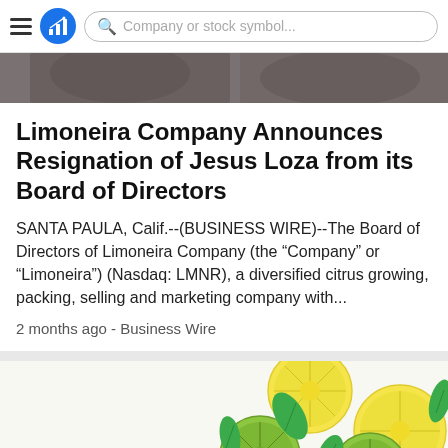Company or stock symbol...
[Figure (photo): Cropped top portion of a food/citrus photo visible at the top of the page]
Limoneira Company Announces Resignation of Jesus Loza from its Board of Directors
SANTA PAULA, Calif.--(BUSINESS WIRE)--The Board of Directors of Limoneira Company (the “Company” or “Limoneira”) (Nasdaq: LMNR), a diversified citrus growing, packing, selling and marketing company with...
2 months ago - Business Wire
[Figure (photo): Photo of sliced lemons and limes with mint leaves on a white background]